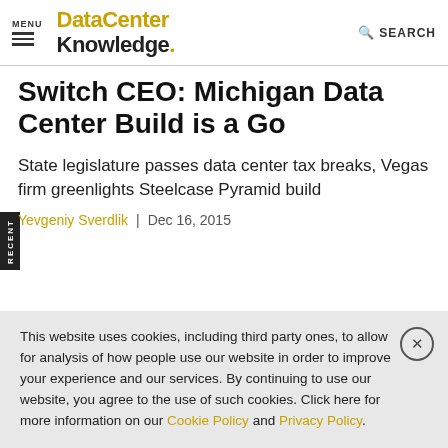MENU | DataCenter Knowledge. | SEARCH
Switch CEO: Michigan Data Center Build is a Go
State legislature passes data center tax breaks, Vegas firm greenlights Steelcase Pyramid build
Yevgeniy Sverdlik | Dec 16, 2015
This website uses cookies, including third party ones, to allow for analysis of how people use our website in order to improve your experience and our services. By continuing to use our website, you agree to the use of such cookies. Click here for more information on our Cookie Policy and Privacy Policy.